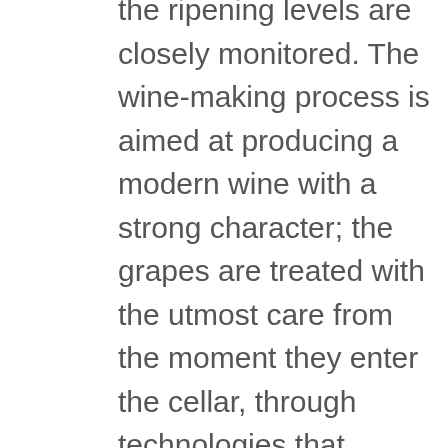the ripening levels are closely monitored. The wine-making process is aimed at producing a modern wine with a strong character; the grapes are treated with the utmost care from the moment they enter the cellar, through technologies that protect them from oxidation and highlight their varietal and aromatic characteristics. The wine is preserved in small stainless steel tanks until the following Spring, when it is bottled. This is a quality white wine, light straw-yellow in color with greenish hints. The scent is pleasant, with marked floral and fruity hint, reminiscent of peach and sage. The